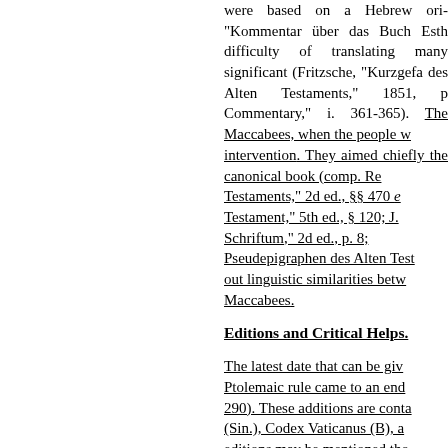were based on a Hebrew original. "Kommentar über das Buch Esth" difficulty of translating many significant (Fritzsche, "Kurzgefa des Alten Testaments," 1851, p Commentary," i. 361-365). The Maccabees, when the people w intervention. They aimed chiefly the canonical book (comp. Re Testaments," 2d ed., §§ 470 e Testament," 5th ed., § 120; J. Schriftum," 2d ed., p. 8; Pseudepigraphen des Alten Test out linguistic similarities betw Maccabees.
Editions and Critical Helps.
The latest date that can be giv Ptolemaic rule came to an end 290). These additions are conta (Sin.), Codex Vaticanus (B), a editions may be mentioned tho E. Nestle, "Vet. Test. Græce Ju "The Old Testament in Greek," Apoc. V. T. Græco," 1871. Th